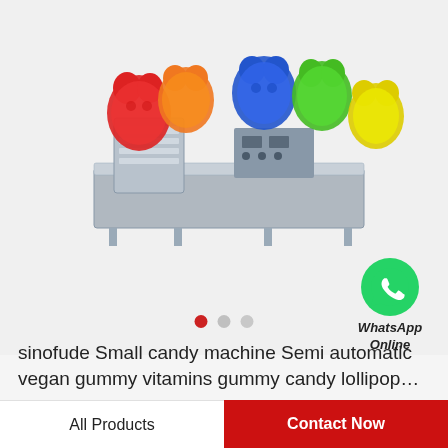[Figure (photo): A stainless steel industrial candy/gummy machine production line, with colorful gummy bear candies (red, orange, blue, green, yellow) arranged around it on a light gray background.]
[Figure (logo): WhatsApp green icon with white phone handset, labeled 'WhatsApp Online' in italic bold text below.]
sinofude Small candy machine Semi automatic vegan gummy vitamins gummy candy lollipop…
All Products
Contact Now